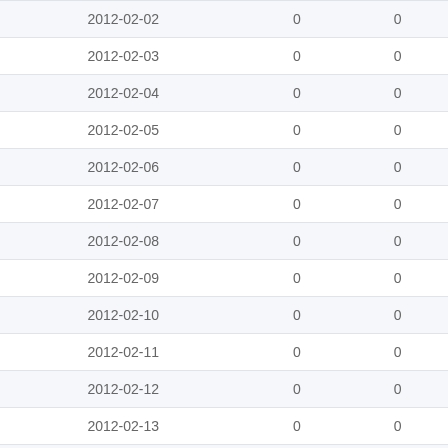| 2012-02-02 | 0 | 0 |
| 2012-02-03 | 0 | 0 |
| 2012-02-04 | 0 | 0 |
| 2012-02-05 | 0 | 0 |
| 2012-02-06 | 0 | 0 |
| 2012-02-07 | 0 | 0 |
| 2012-02-08 | 0 | 0 |
| 2012-02-09 | 0 | 0 |
| 2012-02-10 | 0 | 0 |
| 2012-02-11 | 0 | 0 |
| 2012-02-12 | 0 | 0 |
| 2012-02-13 | 0 | 0 |
| 2012-02-14 | 0 | 0 |
| 2012-02-15 | 0 | 0 |
| 2012-02-16 | 0 | 0 |
| 2012-02-17 | 0 | 0 |
| 2012-02-18 | 0 | 0 |
| 2012-02-19 | 0 | 0 |